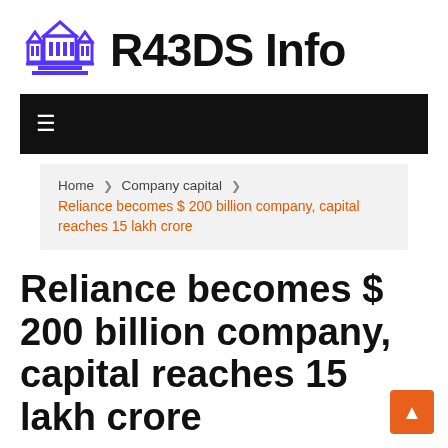R43DS Info
Home > Company capital > Reliance becomes $ 200 billion company, capital reaches 15 lakh crore
Reliance becomes $ 200 billion company, capital reaches 15 lakh crore
Carol M. Baumann  September 10, 2020  0